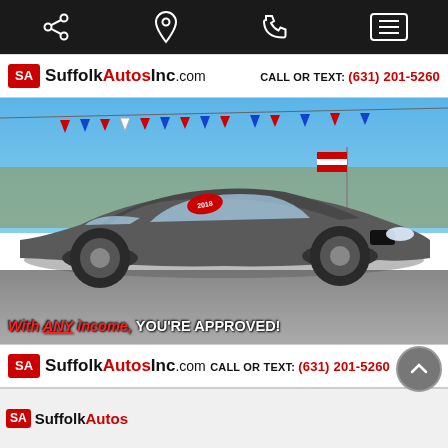Mobile navigation bar with share, location, phone, and menu icons
[Figure (logo): SuffolkAutosInc.com logo with shield emblem on left, CALL OR TEXT: (631) 201-5260 on right]
[Figure (photo): Gray BMW 4 Series coupe photographed at a car dealership lot. Red and blue bunting flags visible, American flag in background. Red sticker on windshield. Overlaid text: 'With ANY income, YOU'RE APPROVED!']
[Figure (logo): SuffolkAutosInc.com logo with shield emblem on left, CALL OR TEXT: (631) 201-5260 on right — second instance with scroll-up button overlay]
[Figure (logo): Partial bottom strip showing SuffolkAutos logo]